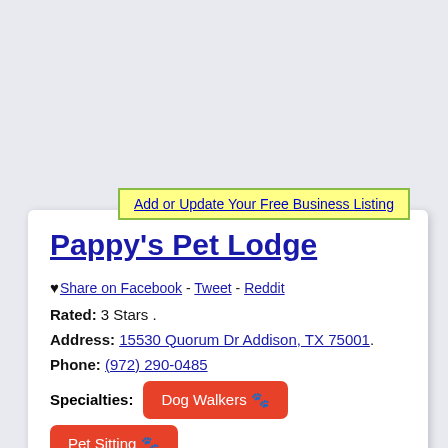Add or Update Your Free Business Listing
Pappy's Pet Lodge
♥ Share on Facebook - Tweet - Reddit
Rated: 3 Stars .
Address: 15530 Quorum Dr Addison, TX 75001.
Phone: (972) 290-0485
Specialties: Dog Walkers 🐾  Pet Sitting 🐾  Pet Groomers 🐾 .